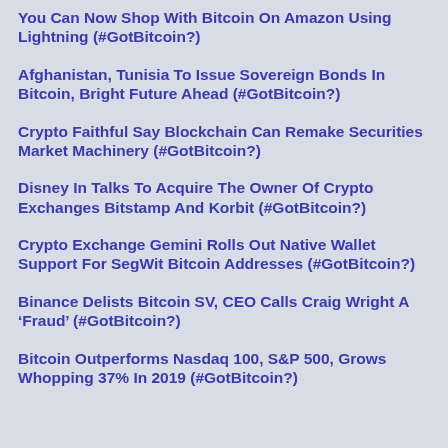You Can Now Shop With Bitcoin On Amazon Using Lightning (#GotBitcoin?)
Afghanistan, Tunisia To Issue Sovereign Bonds In Bitcoin, Bright Future Ahead (#GotBitcoin?)
Crypto Faithful Say Blockchain Can Remake Securities Market Machinery (#GotBitcoin?)
Disney In Talks To Acquire The Owner Of Crypto Exchanges Bitstamp And Korbit (#GotBitcoin?)
Crypto Exchange Gemini Rolls Out Native Wallet Support For SegWit Bitcoin Addresses (#GotBitcoin?)
Binance Delists Bitcoin SV, CEO Calls Craig Wright A ‘Fraud’ (#GotBitcoin?)
Bitcoin Outperforms Nasdaq 100, S&P 500, Grows Whopping 37% In 2019 (#GotBitcoin?)